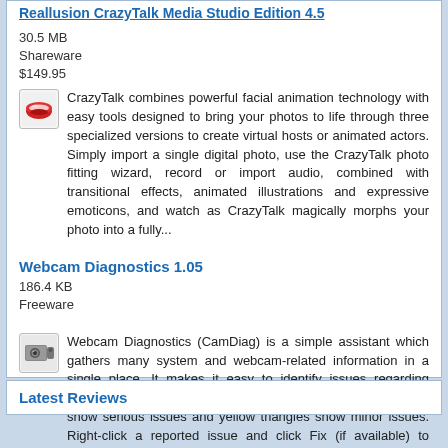Reallusion CrazyTalk Media Studio Edition 4.5
30.5 MB
Shareware
$149.95
CrazyTalk combines powerful facial animation technology with easy tools designed to bring your photos to life through three specialized versions to create virtual hosts or animated actors. Simply import a single digital photo, use the CrazyTalk photo fitting wizard, record or import audio, combined with transitional effects, animated illustrations and expressive emoticons, and watch as CrazyTalk magically morphs your photo into a fully...
Webcam Diagnostics 1.05
186.4 KB
Freeware
Webcam Diagnostics (CamDiag) is a simple assistant which gathers many system and webcam-related information in a single place. It makes it easy to identify issues regarding DirectShow, webcam driver installation or USB: red circles show serious issues and yellow triangles show minor issues. Right-click a reported issue and click Fix (if available) to actually fix the issue or to get information about ways to fix it.
Latest Reviews